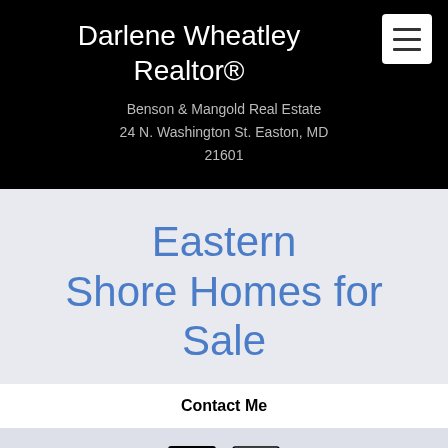Darlene Wheatley Realtor®
Benson & Mangold Real Estate
24 N. Washington St. Easton, MD 21601
Eastern Shore Homes for Sale
Contact Me
[Figure (logo): Realtor logo and Equal Housing Opportunity logo side by side]
410-829-6533 Direct
410-770-9255 Office